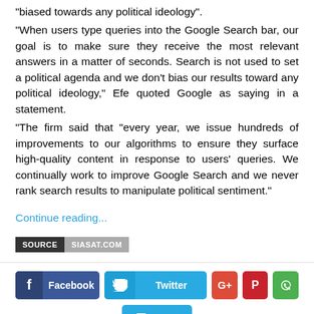“biased towards any political ideology”.
“When users type queries into the Google Search bar, our goal is to make sure they receive the most relevant answers in a matter of seconds. Search is not used to set a political agenda and we don’t bias our results toward any political ideology,” Efe quoted Google as saying in a statement.
The firm said that “every year, we issue hundreds of improvements to our algorithms to ensure they surface high-quality content in response to users’ queries. We continually work to improve Google Search and we never rank search results to manipulate political sentiment.”
Continue reading...
SOURCE  SIASAT.COM